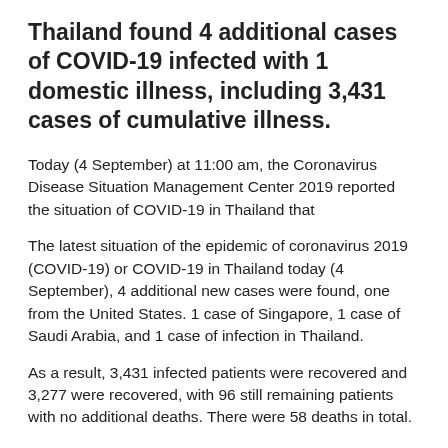Thailand found 4 additional cases of COVID-19 infected with 1 domestic illness, including 3,431 cases of cumulative illness.
Today (4 September) at 11:00 am, the Coronavirus Disease Situation Management Center 2019 reported the situation of COVID-19 in Thailand that
The latest situation of the epidemic of coronavirus 2019 (COVID-19) or COVID-19 in Thailand today (4 September), 4 additional new cases were found, one from the United States. 1 case of Singapore, 1 case of Saudi Arabia, and 1 case of infection in Thailand.
As a result, 3,431 infected patients were recovered and 3,277 were recovered, with 96 still remaining patients with no additional deaths. There were 58 deaths in total.